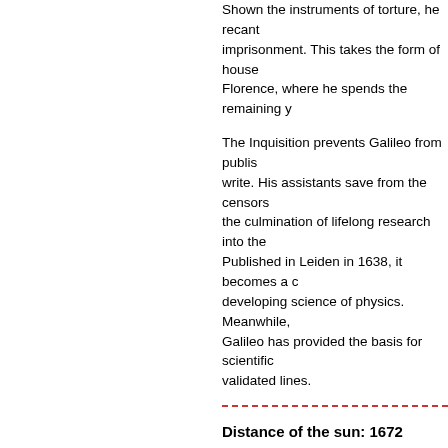Shown the instruments of torture, he recants to avoid imprisonment. This takes the form of house arrest in Florence, where he spends the remaining y...
The Inquisition prevents Galileo from publishing what he wants to write. His assistants save from the censors a manuscript that is the culmination of lifelong research into the science of mechanics. Published in Leiden in 1638, it becomes a cornerstone of the developing science of physics. Meanwhile, the work of Galileo has provided the basis for scientific thought along empirically validated lines.
Distance of the sun: 1672
Giovanni Domenico Cassini, director of the Observatory in Paris, sends a colleague on an expedition to French Guiana. At an agreed time the position of Mars is to be recorded both in Guiana and in Paris.
When Cassini receives the information back and compares the two readings, he is able to calculate the parallax of Mars from earth. He does this by geometry based on the apparent shift as a result of viewing an object from two positions (as we experience when we look through one eye and then the other).
Once Cassini has this first astronomical distance he can calculate each of the other planets by means of Kepler's laws of orbital orbits. But his real quarry is the distance between earth and sun - a crucial measurement known to scientists as...
Cassini's calculation of the astronomical unit turns out to be close. He arrives at a figure of 87 million mi...